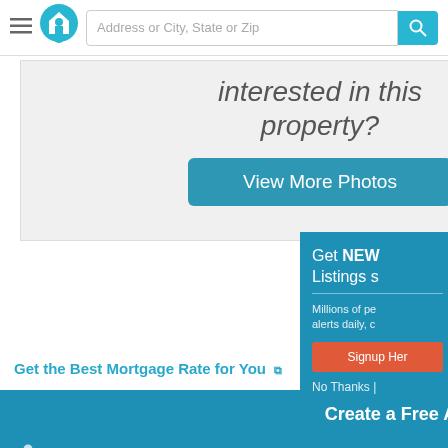Address or City, State or Zip
interested in this property?
View More Photos
Get the Best Mortgage Rate for You
Create a Free Account
First Name  Last Name
Email
Get NEW Listings s
Millions of pe alerts daily, c
Signup Her
No Thanks |